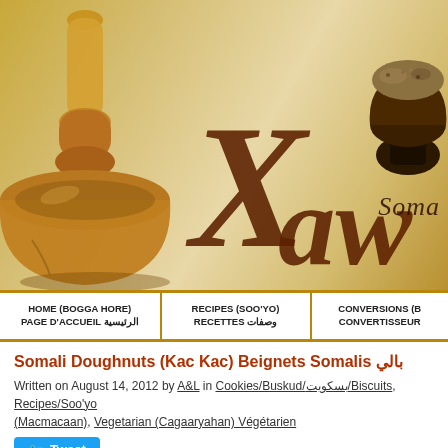[Figure (photo): Website banner with mortar and pestle on left, stylized script text 'Xaw' in brown, 'Soma' text on right, spice bowl on far right, warm golden/tan background gradient]
HOME (BOGGA HORE) PAGE D'ACCUEIL الرئيسية | RECIPES (SOO'YO) RECETTES وصفات | CONVERSIONS (B) CONVERTISSEUR
Somali Doughnuts (Kac Kac) Beignets Somalis بالي
Written on August 14, 2012 by A&L in Cookies/Buskud/بسكويت/Biscuits, Recipes/Soo'yo (Macmacaan), Vegetarian (Cagaaryahan) Végétarien
Tweet
Select Language